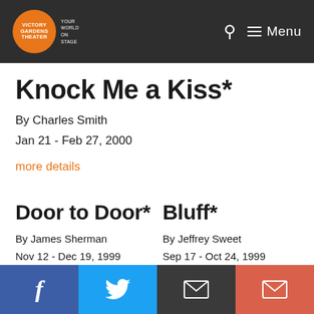Victory Gardens Theater — Your World On Stage | Menu
Knock Me a Kiss*
By Charles Smith
Jan 21 - Feb 27, 2000
more details
Door to Door*
By James Sherman
Nov 12 - Dec 19, 1999
Bluff*
By Jeffrey Sweet
Sep 17 - Oct 24, 1999
f | Twitter | Email | Email